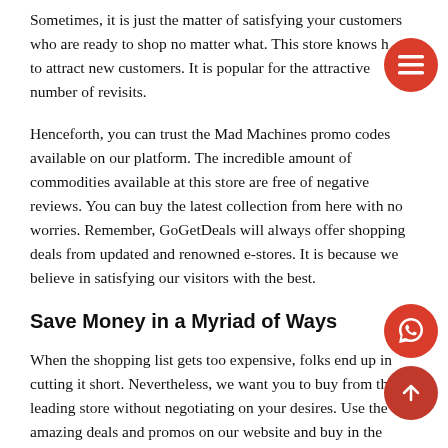Sometimes, it is just the matter of satisfying your customers who are ready to shop no matter what. This store knows how to attract new customers. It is popular for the attractive number of revisits.
Henceforth, you can trust the Mad Machines promo codes available on our platform. The incredible amount of commodities available at this store are free of negative reviews. You can buy the latest collection from here with no worries. Remember, GoGetDeals will always offer shopping deals from updated and renowned e-stores. It is because we believe in satisfying our visitors with the best.
Save Money in a Myriad of Ways
When the shopping list gets too expensive, folks end up in cutting it short. Nevertheless, we want you to buy from this leading store without negotiating on your desires. Use the amazing deals and promos on our website and buy in the prices you desire.
There are various ways through which you can save money. One of them is to connect with a voucher platform like GGD